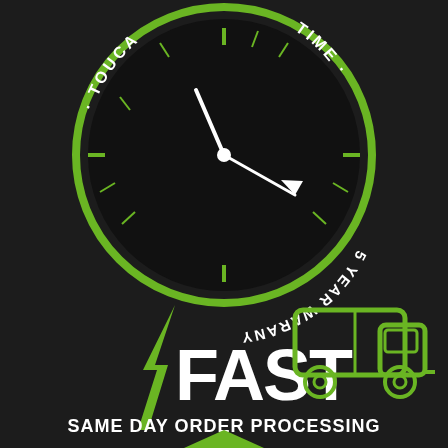[Figure (infographic): Dark background infographic with two sections: top section shows a clock with green ring border and curved text reading 'TOUCA' and 'TIME' and '5 YEAR WARANY' (warranty) in white around the bottom arc. Bottom section shows the word 'FAST' in large white bold letters with a green lightning bolt on the left and a green outline delivery truck on the right, below which is text 'SAME DAY ORDER PROCESSING' in white. At the very bottom is a partial green chevron/arrow shape.]